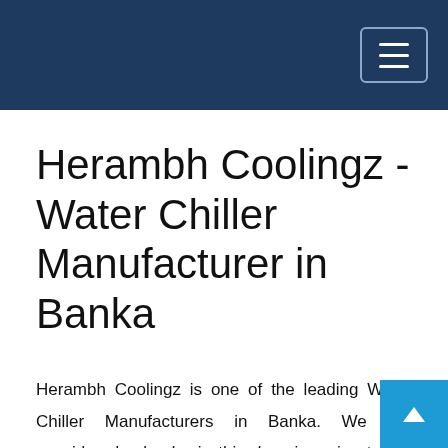Herambh Coolingz - Water Chiller Manufacturer in Banka
Herambh Coolingz is one of the leading Water Chiller Manufacturers in Banka. We are considered a leader in this domain owing to the significant years of experience are also known for always delivering premium quality products. Each product goes through a series of quality tests before